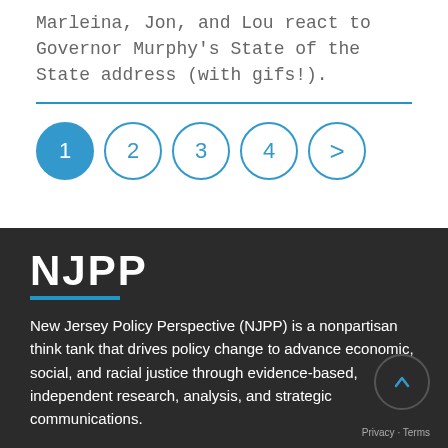Marleina, Jon, and Lou react to Governor Murphy's State of the State address (with gifs!).
[Figure (other): Pagination controls showing circles numbered 1 (active/filled blue), 2, 3, 4, and a right arrow button]
NJPP
New Jersey Policy Perspective (NJPP) is a nonpartisan think tank that drives policy change to advance economic, social, and racial justice through evidence-based, independent research, analysis, and strategic communications.